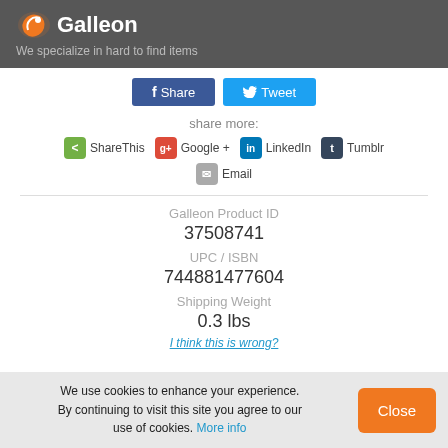Galleon - We specialize in hard to find items
[Figure (screenshot): Social share buttons: Share (Facebook) and Tweet (Twitter)]
share more:
[Figure (infographic): Social sharing icons: ShareThis, Google+, LinkedIn, Tumblr, Email]
Galleon Product ID
37508741
UPC / ISBN
744881477604
Shipping Weight
0.3 lbs
I think this is wrong?
We use cookies to enhance your experience. By continuing to visit this site you agree to our use of cookies. More info